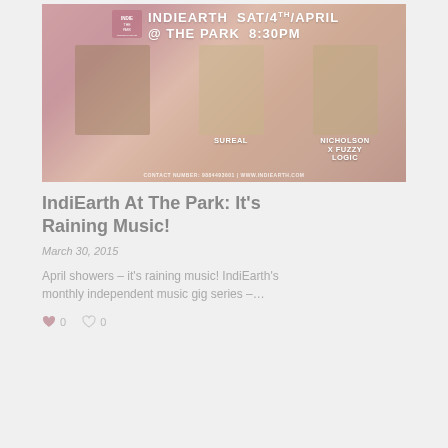[Figure (photo): Event poster for IndiEarth At The Park on Saturday 4th April at 8:30PM, featuring artists Sureal and Nicholson x Fuzzy Logic. Contact number: 9884493601, www.indiearth.com]
IndiEarth At The Park: It’s Raining Music!
March 30, 2015
April showers – it’s raining music! IndiEarth’s monthly independent music gig series –…
♥ 0    ♡ 0